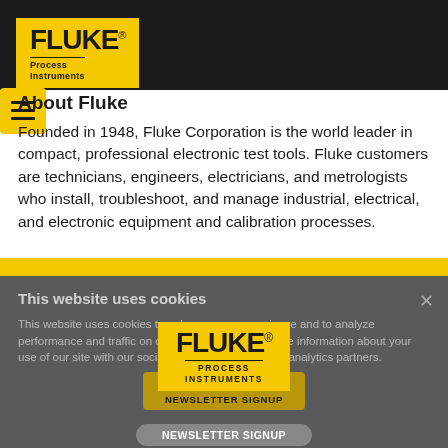[Figure (logo): Fluke Process Instruments logo on dark header bar with yellow menu button]
About Fluke
Founded in 1948, Fluke Corporation is the world leader in compact, professional electronic test tools. Fluke customers are technicians, engineers, electricians, and metrologists who install, troubleshoot, and manage industrial, electrical, and electronic equipment and calibration processes.
This website uses cookies
This website uses cookies to enhance user experience and to analyze performance and traffic on our website. We also share information about your use of our site with our social media, advertising and analytics partners.
[Figure (logo): Fluke Process Instruments logo overlay in yellow box]
OK
NEWSLETTER SIGNUP